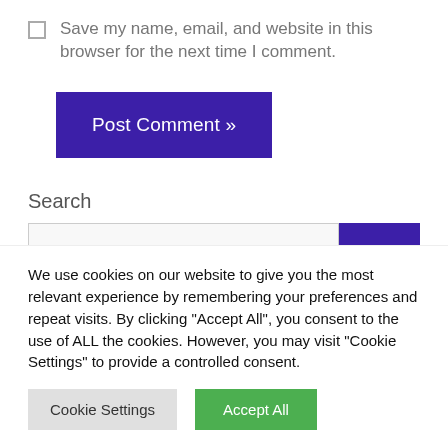Save my name, email, and website in this browser for the next time I comment.
Post Comment »
Search
We use cookies on our website to give you the most relevant experience by remembering your preferences and repeat visits. By clicking "Accept All", you consent to the use of ALL the cookies. However, you may visit "Cookie Settings" to provide a controlled consent.
Cookie Settings
Accept All